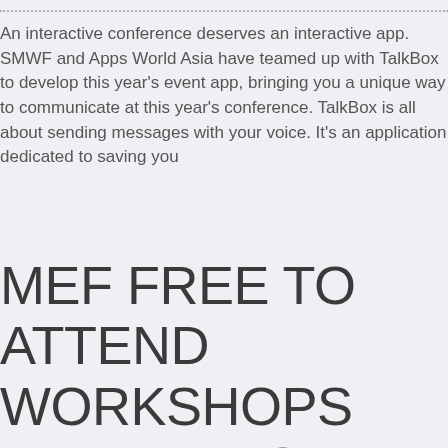An interactive conference deserves an interactive app. SMWF and Apps World Asia have teamed up with TalkBox to develop this year's event app, bringing you a unique way to communicate at this year's conference. TalkBox is all about sending messages with your voice. It's an application dedicated to saving you
MEF FREE TO ATTEND WORKSHOPS FEATURING ARSENAL F.C @ #SMWF ASIA